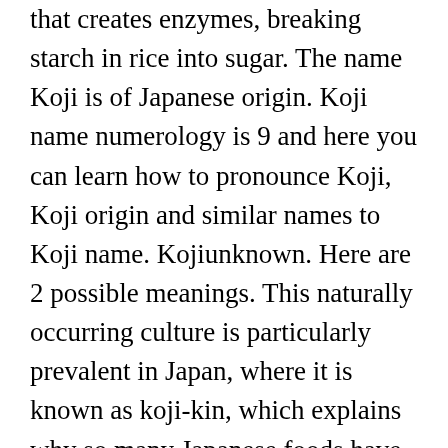that creates enzymes, breaking starch in rice into sugar. The name Koji is of Japanese origin. Koji name numerology is 9 and here you can learn how to pronounce Koji, Koji origin and similar names to Koji name. Kojiunknown. Here are 2 possible meanings. This naturally occurring culture is particularly prevalent in Japan, where it is known as koji-kin, which explains why so many Japanese foods have been developed over the centuries using it. KÅ ji, Koji, Kohji or Kouji is a masculine Japanese given name. English words for å　ä, include improvement, advancement, progress, rise and elevation. Namiko Abe is a Japanese language teacher and translator, as well as a Japanese calligraphy expert. Keep in mind that